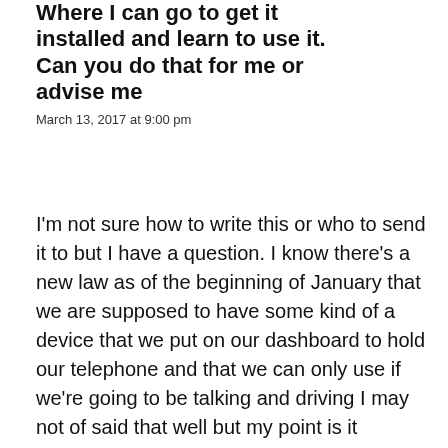Where I can go to get it installed and learn to use it. Can you do that for me or advise me
March 13, 2017 at 9:00 pm
I'm not sure how to write this or who to send it to but I have a question. I know there's a new law as of the beginning of January that we are supposed to have some kind of a device that we put on our dashboard to hold our telephone and that we can only use if we're going to be talking and driving I may not of said that well but my point is it supposed to be a hands-free device and were supposed to use it. I don't know what it is or where to get it or how to mount it and I want to comply with the law so I was wondering if I came by the police station someone there could give